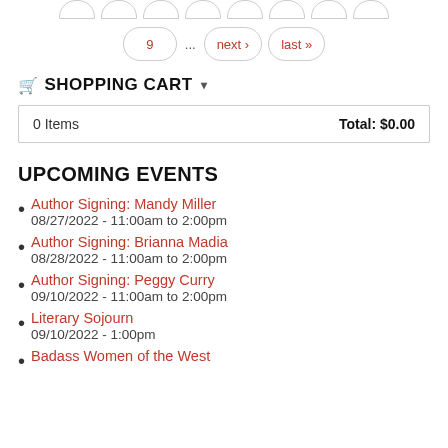Pagination: 9 ... next › last »
SHOPPING CART
| Items | Total |
| --- | --- |
| 0 Items | Total: $0.00 |
UPCOMING EVENTS
Author Signing: Mandy Miller
08/27/2022 - 11:00am to 2:00pm
Author Signing: Brianna Madia
08/28/2022 - 11:00am to 2:00pm
Author Signing: Peggy Curry
09/10/2022 - 11:00am to 2:00pm
Literary Sojourn
09/10/2022 - 1:00pm
Badass Women of the West